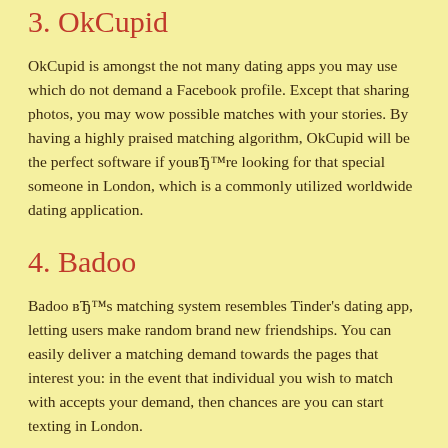3. OkCupid
OkCupid is amongst the not many dating apps you may use which do not demand a Facebook profile. Except that sharing photos, you may wow possible matches with your stories. By having a highly praised matching algorithm, OkCupid will be the perfect software if youвЂ™re looking for that special someone in London, which is a commonly utilized worldwide dating application.
4. Badoo
Badoo вЂ™s matching system resembles Tinder's dating app, letting users make random brand new friendships. You can easily deliver a matching demand towards the pages that interest you: in the event that individual you wish to match with accepts your demand, then chances are you can start texting in London.
5. Happn